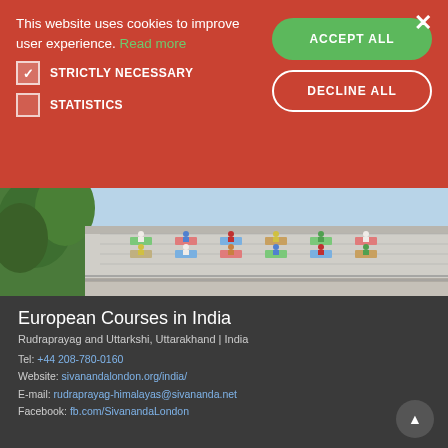This website uses cookies to improve user experience. Read more
☑ STRICTLY NECESSARY
☐ STATISTICS
ACCEPT ALL
DECLINE ALL
[Figure (photo): Aerial/elevated view of a rooftop with people doing yoga outdoors, green trees visible on left]
European Courses in India
Rudraprayag and Uttarkshi, Uttarakhand | India
Tel: +44 208-780-0160
Website: sivanandalondon.org/india/
E-mail: rudraprayag-himalayas@sivananda.net
Facebook: fb.com/SivanandaLondon